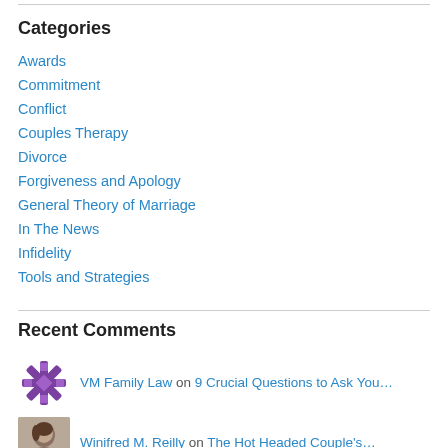Categories
Awards
Commitment
Conflict
Couples Therapy
Divorce
Forgiveness and Apology
General Theory of Marriage
In The News
Infidelity
Tools and Strategies
Recent Comments
VM Family Law on 9 Crucial Questions to Ask You…
Winifred M. Reilly on The Hot Headed Couple's…